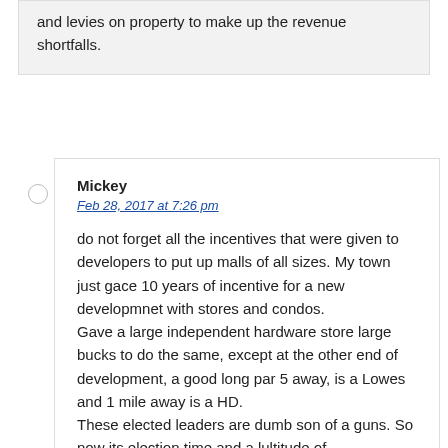and levies on property to make up the revenue shortfalls.
Mickey
Feb 28, 2017 at 7:26 pm
do not forget all the incentives that were given to developers to put up malls of all sizes. My town just gace 10 years of incentive for a new developmnet with stores and condos.
Gave a large independent hardware store large bucks to do the same, except at the other end of development, a good long par 5 away, is a Lowes and 1 mile away is a HD.
These elected leaders are dumb son of a guns. So now its election time and a lultitude of